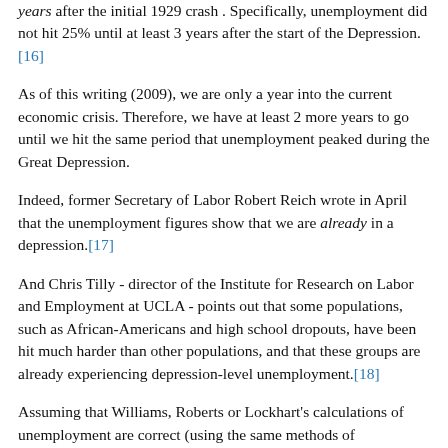years after the initial 1929 crash . Specifically, unemployment did not hit 25% until at least 3 years after the start of the Depression.[16]
As of this writing (2009), we are only a year into the current economic crisis. Therefore, we have at least 2 more years to go until we hit the same period that unemployment peaked during the Great Depression.
Indeed, former Secretary of Labor Robert Reich wrote in April that the unemployment figures show that we are already in a depression.[17]
And Chris Tilly - director of the Institute for Research on Labor and Employment at UCLA - points out that some populations, such as African-Americans and high school dropouts, have been hit much harder than other populations, and that these groups are already experiencing depression-level unemployment.[18]
Assuming that Williams, Roberts or Lockhart's calculations of unemployment are correct (using the same methods of